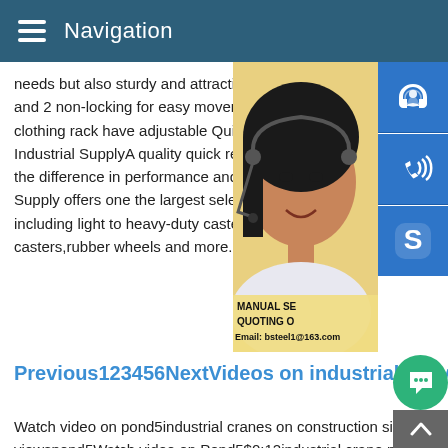Navigation
needs but also sturdy and attractive.Incluc and 2 non-locking for easy movement.Not clothing rack have adjustable Quick Relea Industrial SupplyA quality quick release ca the difference in performance and reliabilit Supply offers one the largest selections of including light to heavy-duty casters,pheno casters,rubber wheels and more.
[Figure (photo): Customer service representative woman with headset, with blue icon buttons for chat, phone, and Skype overlaid on the right, and contact overlay showing MANUAL SE, QUOTING O, Email: bsteel1@163.com]
Previous123456NextVideos on industrial heavy load swivel
Watch video on pond5industrial cranes on construction site45 viewspond5Watch video on Pond5$0:12industrial crane positio large duct on construction site44 viewsJun 22,2009Pond5Kim D.LymanWatch video on Pond5$0:12ironworker guide crane li construction site76 viewsJun 22,2009Pond5Kim D.LymanWatc